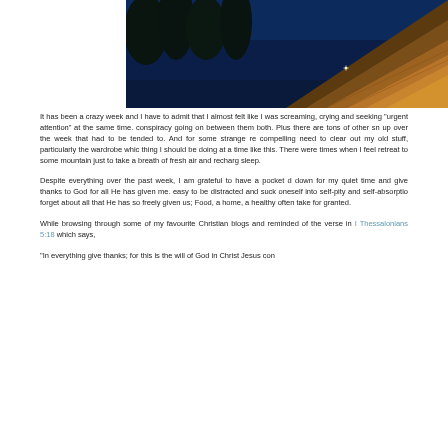[Figure (photo): Outdoor photo showing dark blue sky/water, silhouetted trees, and a rocky or log-covered surface lit in warm golden tones]
It has been a crazy week and I have to admit that I almost felt like I was screaming, crying and seeking "urgent attention" at the same time. conspiracy going on between them both. Plus there are tons of other sn up over the week that had to be tended to. And for some strange re compelling need to clear out my old stuff, particularly the wardrobe whic thing I should be doing at a time like this. There were times when I feel retreat to some mountain just to take a breath of fresh air and recharg sleep.
Despite everything over the past week, I am grateful to have a pocket d down for my quiet time and give thanks to God for all He has given me. easy to be distracted and suck oneself into self-pity and self-absorptio forget about all that He has so freely given us; Food, a home, a healthy often take for granted.
While browsing through some of my favourite Christian blogs and reminded of the verse in I Thessalonians 5:18 which says,
"In everything give thanks; for this is the will of God in Christ Jesus con